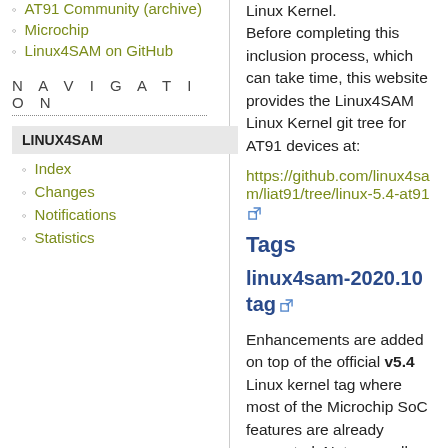AT91 Community (archive)
Microchip
Linux4SAM on GitHub
NAVIGATION
LINUX4SAM
Index
Changes
Notifications
Statistics
Linux Kernel. Before completing this inclusion process, which can take time, this website provides the Linux4SAM Linux Kernel git tree for AT91 devices at:
https://github.com/linux4sam/linux-at91/tree/linux-5.4-at91
Tags
linux4sam-2020.10 tag
Enhancements are added on top of the official v5.4 Linux kernel tag where most of the Microchip SoC features are already supported. Note as well that we re-integrate each and every stable kernel release on top of this Long Term Support (LTS) kernel revision. This means that